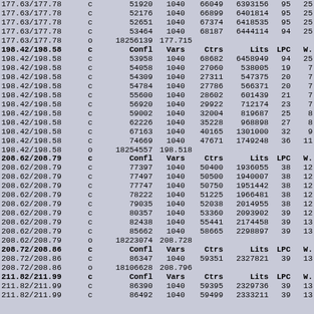|  |  | Confl | Vars | Ctrs | Lits | LPC | W. |
| --- | --- | --- | --- | --- | --- | --- | --- |
| 177.63/177.78 | c | 51920 | 1040 | 66049 | 6393156 | 95 | 25 |
| 177.63/177.78 | c | 52176 | 1040 | 66899 | 6401814 | 95 | 25 |
| 177.63/177.78 | c | 52651 | 1040 | 67374 | 6418535 | 95 | 25 |
| 177.63/177.78 | c | 53464 | 1040 | 68187 | 6444114 | 94 | 25 |
| 177.63/177.78 | o | 18256139 |  | 177.715 |  |  |  |
| 198.42/198.58 | c | Confl | Vars | Ctrs | Lits | LPC | W. |
| 198.42/198.58 | c | 53958 | 1040 | 68682 | 6458949 | 94 | 25 |
| 198.42/198.58 | c | 54058 | 1040 | 27060 | 538005 | 19 | 7 |
| 198.42/198.58 | c | 54309 | 1040 | 27311 | 547375 | 20 | 7 |
| 198.42/198.58 | c | 54784 | 1040 | 27786 | 566371 | 20 | 7 |
| 198.42/198.58 | c | 55600 | 1040 | 28602 | 601439 | 21 | 7 |
| 198.42/198.58 | c | 56920 | 1040 | 29922 | 712174 | 23 | 7 |
| 198.42/198.58 | c | 59002 | 1040 | 32004 | 819687 | 25 | 8 |
| 198.42/198.58 | c | 62226 | 1040 | 35228 | 968898 | 27 | 8 |
| 198.42/198.58 | c | 67163 | 1040 | 40165 | 1301000 | 32 | 9 |
| 198.42/198.58 | c | 74669 | 1040 | 47671 | 1749248 | 36 | 11 |
| 198.42/198.58 | o | 18254557 |  | 198.518 |  |  |  |
| 208.62/208.79 | c | Confl | Vars | Ctrs | Lits | LPC | W. |
| 208.62/208.79 | c | 77397 | 1040 | 50400 | 1936055 | 38 | 12 |
| 208.62/208.79 | c | 77497 | 1040 | 50500 | 1940007 | 38 | 12 |
| 208.62/208.79 | c | 77747 | 1040 | 50750 | 1951442 | 38 | 12 |
| 208.62/208.79 | c | 78222 | 1040 | 51225 | 1966481 | 38 | 12 |
| 208.62/208.79 | c | 79035 | 1040 | 52038 | 2014955 | 38 | 12 |
| 208.62/208.79 | c | 80357 | 1040 | 53360 | 2093902 | 39 | 12 |
| 208.62/208.79 | c | 82438 | 1040 | 55441 | 2174458 | 39 | 13 |
| 208.62/208.79 | c | 85662 | 1040 | 58665 | 2298897 | 39 | 13 |
| 208.62/208.79 | o | 18223074 |  | 208.728 |  |  |  |
| 208.72/208.86 | c | Confl | Vars | Ctrs | Lits | LPC | W. |
| 208.72/208.86 | c | 86347 | 1040 | 59351 | 2327821 | 39 | 13 |
| 208.72/208.86 | o | 18106628 |  | 208.796 |  |  |  |
| 211.82/211.99 | c | Confl | Vars | Ctrs | Lits | LPC | W. |
| 211.82/211.99 | c | 86390 | 1040 | 59395 | 2329736 | 39 | 13 |
| 211.82/211.99 | c | 86492 | 1040 | 59499 | 2333211 | 39 | 13 |